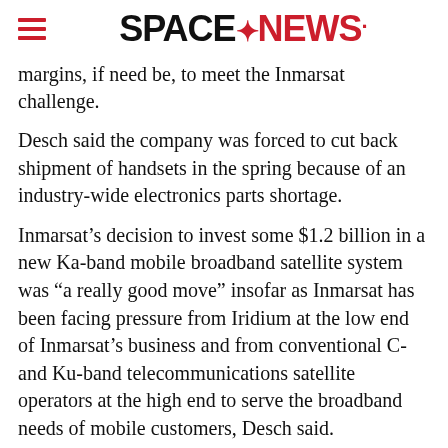SPACENEWS
margins, if need be, to meet the Inmarsat challenge.
Desch said the company was forced to cut back shipment of handsets in the spring because of an industry-wide electronics parts shortage.
Inmarsat’s decision to invest some $1.2 billion in a new Ka-band mobile broadband satellite system was “a really good move” insofar as Inmarsat has been facing pressure from Iridium at the low end of Inmarsat’s business and from conventional C- and Ku-band telecommunications satellite operators at the high end to serve the broadband needs of mobile customers, Desch said.